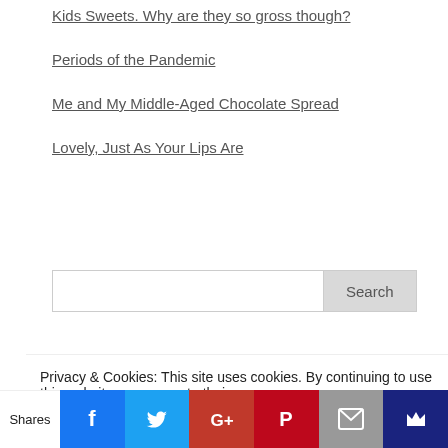Kids Sweets. Why are they so gross though?
Periods of the Pandemic
Me and My Middle-Aged Chocolate Spread
Lovely, Just As Your Lips Are
Search
FOLLOW ME ON TWITTER
Tweets from @SharynHayden   Follow
Privacy & Cookies: This site uses cookies. By continuing to use this website, you agree to their use.
To find out more, including how to control cookies, see here: Cookie Policy
Close and accept
Shares